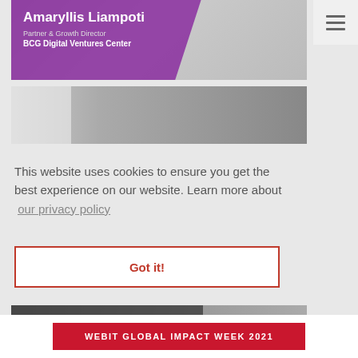[Figure (photo): Profile card for Amaryllis Liampoti with purple overlay showing name and title, black and white photo background]
Amaryllis Liampoti
Partner & Growth Director
BCG Digital Ventures Center
[Figure (photo): Partial profile photo card, dark hair visible, light grey overlay on left side]
This website uses cookies to ensure you get the best experience on our website. Learn more about our privacy policy
Got it!
[Figure (photo): Partial profile card for Anna Magiera with dark overlay, black and white photo background]
Anna Magiera
WEBIT GLOBAL IMPACT WEEK 2021